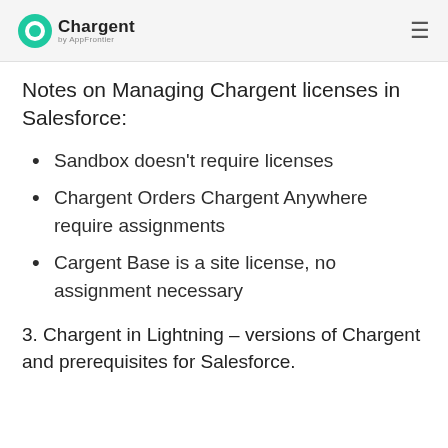Chargent by AppFrontier
Notes on Managing Chargent licenses in Salesforce:
Sandbox doesn't require licenses
Chargent Orders Chargent Anywhere require assignments
Cargent Base is a site license, no assignment necessary
3. Chargent in Lightning – versions of Chargent and prerequisites for Salesforce.